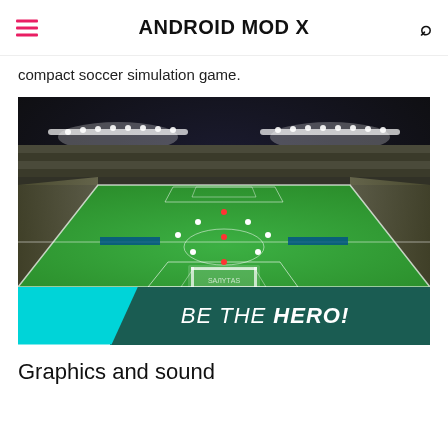ANDROID MOD X
compact soccer simulation game.
[Figure (screenshot): Soccer stadium screenshot from a mobile game showing a top-down perspective of a football pitch with crowds in stands and stadium lights. Banner at the bottom reads 'BE THE HERO!' with cyan and dark teal background.]
Graphics and sound